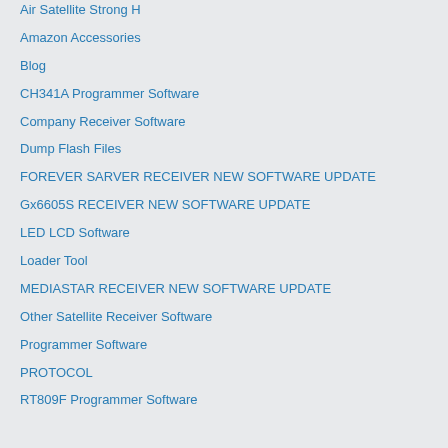Air Satellite Strong H
Amazon Accessories
Blog
CH341A Programmer Software
Company Receiver Software
Dump Flash Files
FOREVER SARVER RECEIVER NEW SOFTWARE UPDATE
Gx6605S RECEIVER NEW SOFTWARE UPDATE
LED LCD Software
Loader Tool
MEDIASTAR RECEIVER NEW SOFTWARE UPDATE
Other Satellite Receiver Software
Programmer Software
PROTOCOL
RT809F Programmer Software